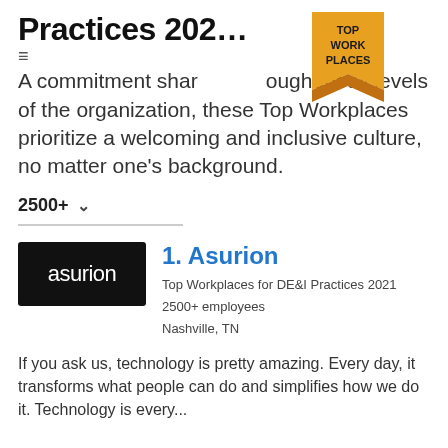Practices 202…
[Figure (logo): Top Work Places badge/ribbon in gold/orange with text TOP WORK PLACES]
A commitment shared throughout all levels of the organization, these Top Workplaces prioritize a welcoming and inclusive culture, no matter one's background.
2500+ ˅
[Figure (logo): Asurion logo — white text on black rectangle]
1. Asurion
Top Workplaces for DE&I Practices 2021
2500+ employees
Nashville, TN
If you ask us, technology is pretty amazing. Every day, it transforms what people can do and simplifies how we do it. Technology is every...